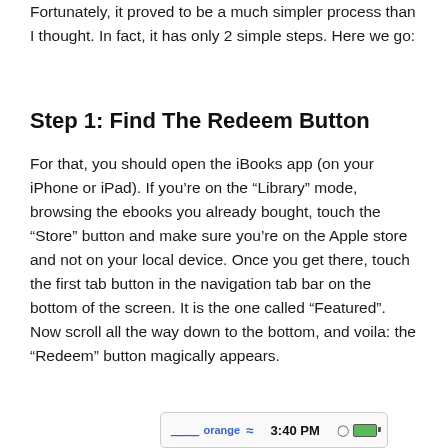Fortunately, it proved to be a much simpler process than I thought. In fact, it has only 2 simple steps. Here we go:
Step 1: Find The Redeem Button
For that, you should open the iBooks app (on your iPhone or iPad). If you’re on the “Library” mode, browsing the ebooks you already bought, touch the “Store” button and make sure you’re on the Apple store and not on your local device. Once you get there, touch the first tab button in the navigation tab bar on the bottom of the screen. It is the one called “Featured”. Now scroll all the way down to the bottom, and voila: the “Redeem” button magically appears.
[Figure (screenshot): iPhone status bar showing orange carrier, WiFi signal, 3:40 PM time, clock icon, and green battery icon]